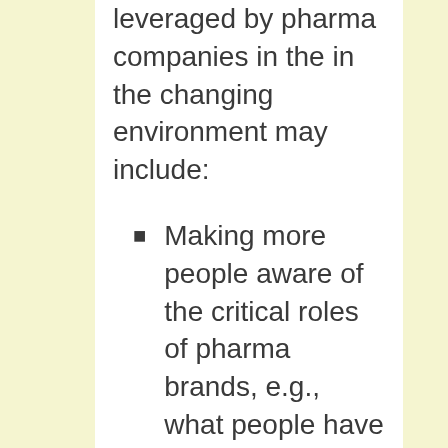leveraged by pharma companies in the in the changing environment may include:
Making more people aware of the critical roles of pharma brands, e.g., what people have witnessed recently with Covid-19 drugs and vaccines.
Improving brand credibility and corporate reputation by gaining stakeholder trust. This is usually triggered a favorable word-of-mouth awareness of the role that